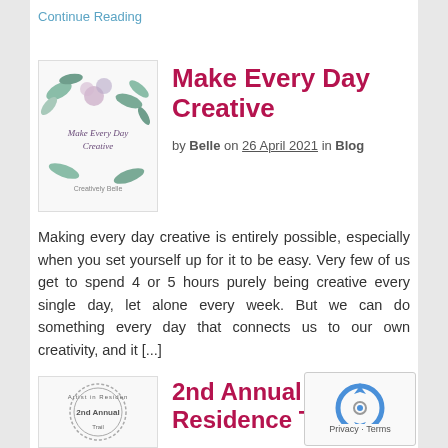Continue Reading
Make Every Day Creative
by Belle on 26 April 2021 in Blog
[Figure (illustration): Watercolor floral logo with text 'Make Every Day Creative' and 'Creatively Belle']
Making every day creative is entirely possible, especially when you set yourself up for it to be easy. Very few of us get to spend 4 or 5 hours purely being creative every single day, let alone every week. But we can do something every day that connects us to our own creativity, and it [...]
Continue Reading
[Figure (illustration): Circular stamp logo for '2nd Annual Artist in Residence']
2nd Annual Artist in Residence Trail